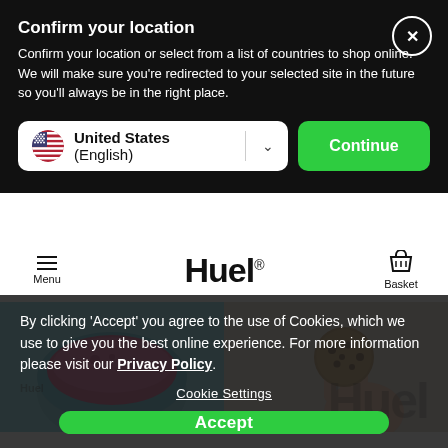Confirm your location
Confirm your location or select from a list of countries to shop online. We will make sure you're redirected to your selected site in the future so you'll always be in the right place.
United States (English)
Continue
[Figure (screenshot): Huel website navigation bar with hamburger menu, Huel logo, and basket icon, plus food product images below]
By clicking 'Accept' you agree to the use of Cookies, which we use to give you the best online experience. For more information please visit our Privacy Policy.
Cookie Settings
Accept